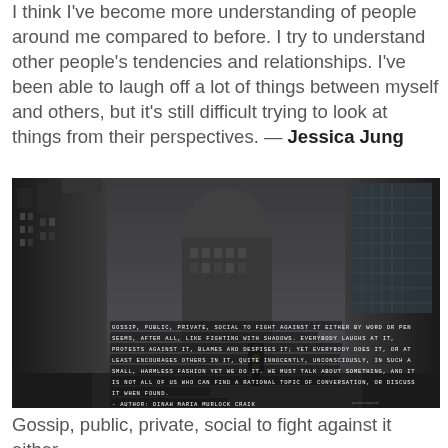I think I've become more understanding of people around me compared to before. I try to understand other people's tendencies and relationships. I've been able to laugh off a lot of things between myself and others, but it's still difficult trying to look at things from their perspectives. — Jessica Jung
[Figure (photo): Dark cityscape photo showing tall buildings with overcast sky, overlaid with typewriter-style white text on dark background: 'GOSSIP, PUBLIC, PRIVATE, SOCIAL TO FIGHT AGAINST IT EITHER BY WORD OR PEN SEEMS, AFTER ALL, LIKE FIGHTING WITH SHADOWS. EVERYBODY LAUGHS AT IT, PROTESTS AGAINST IT, BLAMES AND DESPISES IT; YET EVERYBODY DOES IT, OR AT LEAST ENCOURAGES OTHERS IN IT, QUITE INNOCENTLY, UNCONSCIOUSLY, IN SUCH A SMALL, HARMLESS FASHION YET WE DO IT. WE MUST TALK ABOUT SOMETHING, AND IT IS NOT ALL OF US WHO CAN FIND A RATIONAL TOPIC OF CONVERSATION, OR DISCUSS IT WHEN FOUND. - AUTHOR: DINAH MARIA MURLOCK CRAIK']
Gossip, public, private, social to fight against it either